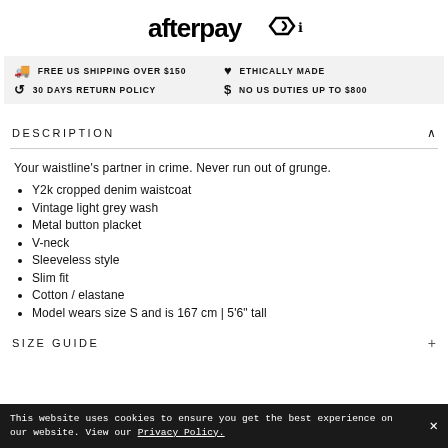[Figure (logo): Afterpay logo with arrow icon]
FREE US SHIPPING OVER $150  |  ETHICALLY MADE  |  30 DAYS RETURN POLICY  |  NO US DUTIES UP TO $800
DESCRIPTION
Your waistline's partner in crime. Never run out of grunge.
Y2k cropped denim waistcoat
Vintage light grey wash
Metal button placket
V-neck
Sleeveless style
Slim fit
Cotton / elastane
Model wears size S and is 167 cm | 5'6" tall
SIZE GUIDE
This website uses cookies to ensure you get the best experience on our website. View our Privacy Policy.